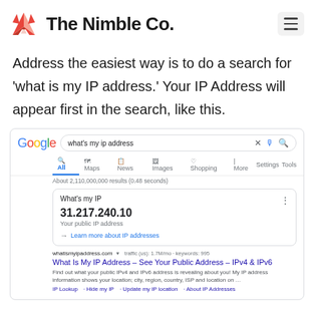The Nimble Co.
Address the easiest way is to do a search for 'what is my IP address.' Your IP Address will appear first in the search, like this.
[Figure (screenshot): Google search screenshot showing search for 'what's my ip address' with featured snippet showing IP 31.217.240.10 and a search result for whatismyipaddress.com]